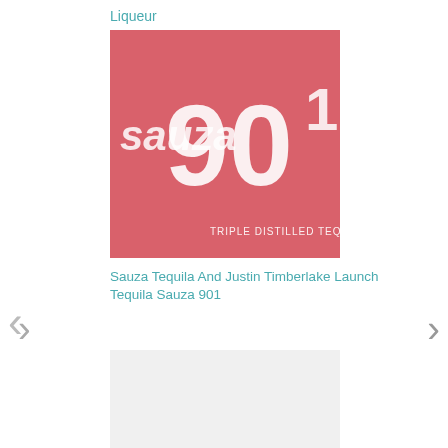Liqueur
[Figure (photo): Sauza 901 Triple Distilled Tequila red/pink branded image with '90' large text]
Sauza Tequila And Justin Timberlake Launch Tequila Sauza 901
[Figure (photo): Light gray placeholder image for Herradura tequila article]
Tequila Herradura Releases Cognac Cask Finish Reposado
[Figure (photo): Jose Cuervo Cinge cinnamon tequila bottle]
Jose Cuervo Tequila Introduces Cinge